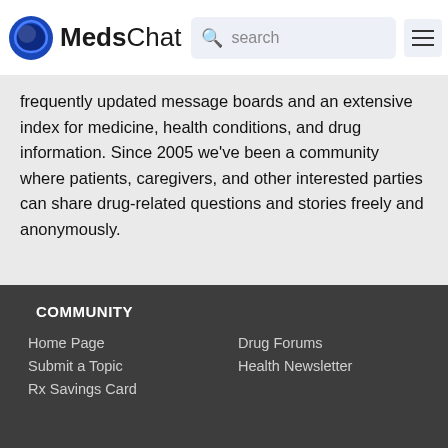MedsChat
frequently updated message boards and an extensive index for medicine, health conditions, and drug information. Since 2005 we've been a community where patients, caregivers, and other interested parties can share drug-related questions and stories freely and anonymously.
COMMUNITY
Home Page
Drug Forums
Submit a Topic
Health Newsletter
Rx Savings Card